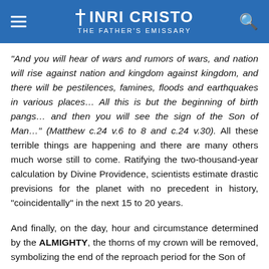INRI CRISTO — THE FATHER'S EMISSARY
“And you will hear of wars and rumors of wars, and nation will rise against nation and kingdom against kingdom, and there will be pestilences, famines, floods and earthquakes in various places… All this is but the beginning of birth pangs… and then you will see the sign of the Son of Man…” (Matthew c.24 v.6 to 8 and c.24 v.30). All these terrible things are happening and there are many others much worse still to come. Ratifying the two-thousand-year calculation by Divine Providence, scientists estimate drastic previsions for the planet with no precedent in history, “coincidentally” in the next 15 to 20 years.
And finally, on the day, hour and circumstance determined by the ALMIGHTY, the thorns of my crown will be removed, symbolizing the end of the reproach period for the Son of